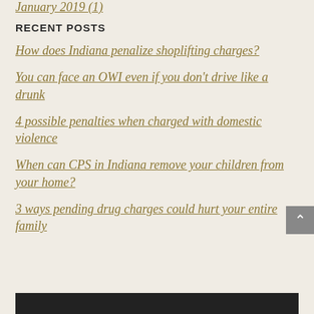January 2019 (1)
RECENT POSTS
How does Indiana penalize shoplifting charges?
You can face an OWI even if you don't drive like a drunk
4 possible penalties when charged with domestic violence
When can CPS in Indiana remove your children from your home?
3 ways pending drug charges could hurt your entire family
[Figure (photo): Dark/black bottom image band, partially visible at bottom of page]